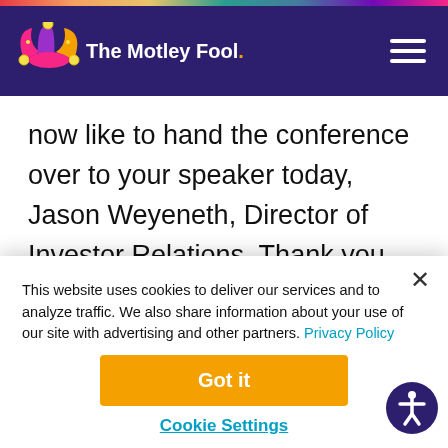The Motley Fool
now like to hand the conference over to your speaker today, Jason Weyeneth, Director of Investor Relations. Thank you. Please go ahead, sir.
Jason Weveneth – Director of Investor Relations
This website uses cookies to deliver our services and to analyze traffic. We also share information about your use of our site with advertising and other partners. Privacy Policy
Got it
Cookie Settings